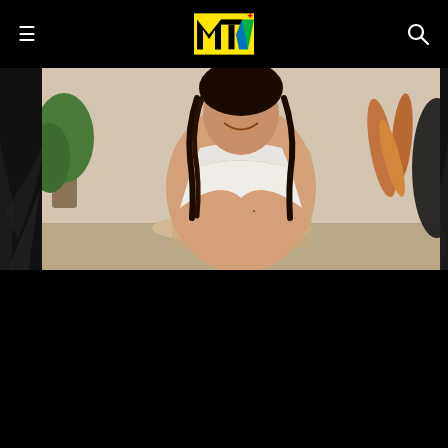MTV (logo)
[Figure (photo): Rina Sawayama sitting in a wicker chair wearing a white cross-halter top, with braided hair, orange feather decor in background, indoor photoshoot setting]
How Rina Sawayama's Journey Of Healing Made Her 'Hold The Girl'
The Japanese-British pop singer tells 'The Method' about developing her interior second album
08/19/2022
[Figure (photo): Partial view of a dark concert or performance scene with a raised hand visible against dark background]